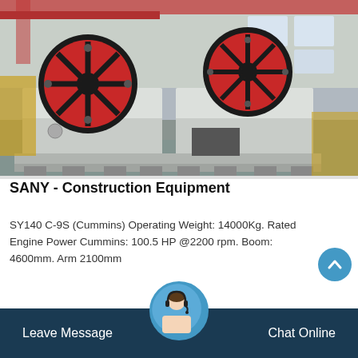[Figure (photo): Industrial jaw crushers inside a manufacturing facility. Two large white and red heavy machinery units with large red flywheels are seen on a factory floor.]
SANY - Construction Equipment
SY140 C-9S (Cummins) Operating Weight: 14000Kg. Rated Engine Power Cummins: 100.5 HP @2200 rpm. Boom: 4600mm. Arm 2100mm
Leave Message   Chat Online